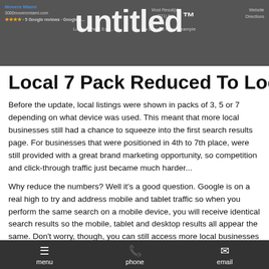[Figure (screenshot): Screenshot of a Google Local 7 Pack / Local 3 Pack search results page showing Movers Miami listing with stars and reviews. Shows header navigation with Local 7 Pack Example and Local 3 Pack Example labels.]
Local 7 Pack Reduced To Local 3
Before the update, local listings were shown in packs of 3, 5 or 7 depending on what device was used. This meant that more local businesses still had a chance to squeeze into the first search results page. For businesses that were positioned in 4th to 7th place, were still provided with a great brand marketing opportunity, so competition and click-through traffic just became much harder...
Why reduce the numbers? Well it’s a good question. Google is on a real high to try and address mobile and tablet traffic so when you perform the same search on a mobile device, you will receive identical search results so the mobile, tablet and desktop results all appear the same. Don’t worry, though, you can still access more local businesses with a simple click of a button but more on that later.
menu  phone  email